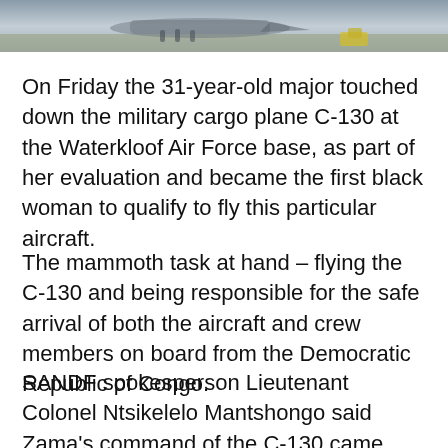[Figure (photo): Partial view of a military aircraft scene, cropped at the top of the page.]
On Friday the 31-year-old major touched down the military cargo plane C-130 at the Waterkloof Air Force base, as part of her evaluation and became the first black woman to qualify to fly this particular aircraft.
The mammoth task at hand – flying the C-130 and being responsible for the safe arrival of both the aircraft and crew members on board from the Democratic Republic of Congo.
SANDF spokesperson Lieutenant Colonel Ntsikelelo Mantshongo said Zama's command of the C-130 came with a huge responsibility.